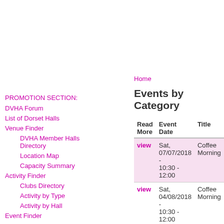PROMOTION SECTION:
DVHA Forum
List of Dorset Halls
Venue Finder
DVHA Member Halls Directory
Location Map
Capacity Summary
Activity Finder
Clubs Directory
Activity by Type
Activity by Hall
Event Finder
Home
Events by Category
| Read More | Event Date | Title |
| --- | --- | --- |
| view | Sat, 07/07/2018 - 10:30 - 12:00 | Coffee Morning |
| view | Sat, 04/08/2018 - 10:30 - 12:00 | Coffee Morning |
|  | Sat, 01/09/2018 - | Coffee |